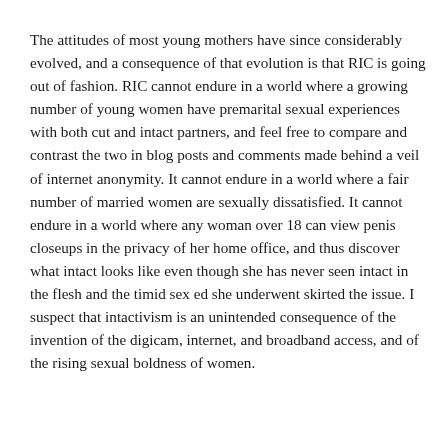The attitudes of most young mothers have since considerably evolved, and a consequence of that evolution is that RIC is going out of fashion. RIC cannot endure in a world where a growing number of young women have premarital sexual experiences with both cut and intact partners, and feel free to compare and contrast the two in blog posts and comments made behind a veil of internet anonymity. It cannot endure in a world where a fair number of married women are sexually dissatisfied. It cannot endure in a world where any woman over 18 can view penis closeups in the privacy of her home office, and thus discover what intact looks like even though she has never seen intact in the flesh and the timid sex ed she underwent skirted the issue. I suspect that intactivism is an unintended consequence of the invention of the digicam, internet, and broadband access, and of the rising sexual boldness of women.